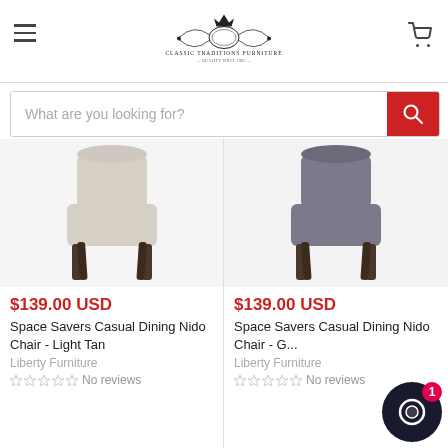Classic Traditions Furniture — navigation header with hamburger menu and cart icon
What are you looking for?
[Figure (photo): Dining chair with light tan upholstery and dark wood legs (Space Savers Casual Dining Nido Chair - Light Tan)]
$139.00 USD
Space Savers Casual Dining Nido Chair - Light Tan
Liberty Furniture
No reviews
[Figure (photo): Dining chair with dark grey upholstery and dark wood legs (Space Savers Casual Dining Nido Chair - Grey)]
$139.00 USD
Space Savers Casual Dining Nido Chair - G...
Liberty Furniture
No reviews